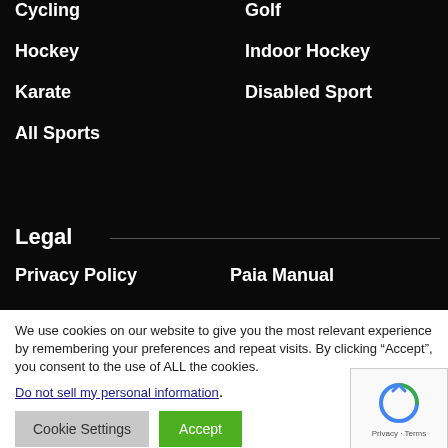Cycling
Golf
Hockey
Indoor Hockey
Karate
Disabled Sport
All Sports
Legal
Privacy Policy
Paia Manual
We use cookies on our website to give you the most relevant experience by remembering your preferences and repeat visits. By clicking “Accept”, you consent to the use of ALL the cookies.
Do not sell my personal information.
Cookie Settings
Accept